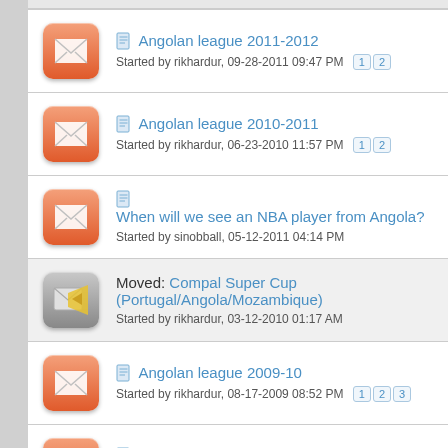Angolan league 2011-2012
Started by rikhardur, 09-28-2011 09:47 PM  1 2
Angolan league 2010-2011
Started by rikhardur, 06-23-2010 11:57 PM  1 2
When will we see an NBA player from Angola?
Started by sinobball, 05-12-2011 04:14 PM
Moved: Compal Super Cup (Portugal/Angola/Mozambique)
Started by rikhardur, 03-12-2010 01:17 AM
Angolan league 2009-10
Started by rikhardur, 08-17-2009 08:52 PM  1 2 3
Angola Beat China
Started by zlim, 07-31-2007 01:40 PM  1 2